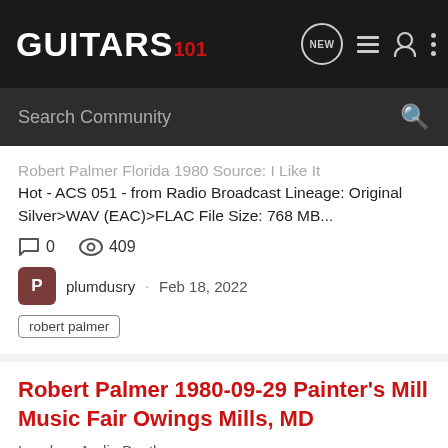GUITARS 101
Search Community
Robert Palmer Florida 1980 Source: I Like It Hot - ACS 051 - from Radio Broadcast Lineage: Original Silver>WAV (EAC)>FLAC File Size: 768 MB...
0 comments · 409 views
plumdusry · Feb 18, 2022
robert palmer
Robert Palmer 1980-09-29 Painter's Mill Music Fair Owings Mills, MD
Lossless Audio Bootlegs
Robert Palmer Painter's Mill Music Fair Owings Mills, Maryland September 29th 1980 KZAM FM Broadcast Reel to Reel Master @ 3 AND 3/4 ips From The JEMS Archive